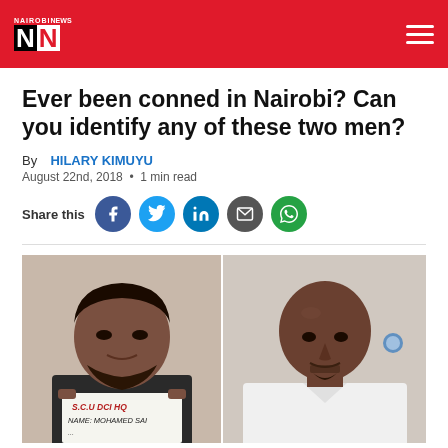NAIROBI NEWS NN
Ever been conned in Nairobi? Can you identify any of these two men?
By HILARY KIMUYU
August 22nd, 2018 • 1 min read
Share this
[Figure (photo): Two mugshot-style photos of men. Left: a man holding a sign reading 'S.C.U DCI HQ NAME: MOHAMED SAI...' Right: a bald man in a white shirt.]